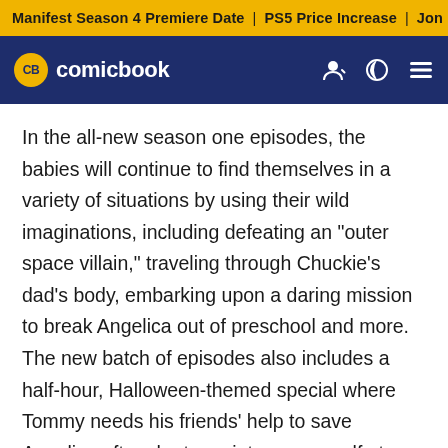Manifest Season 4 Premiere Date | PS5 Price Increase | Jon M
CB comicbook
In the all-new season one episodes, the babies will continue to find themselves in a variety of situations by using their wild imaginations, including defeating an "outer space villain," traveling through Chuckie's dad's body, embarking upon a daring mission to break Angelica out of preschool and more. The new batch of episodes also includes a half-hour, Halloween-themed special where Tommy needs his friends' help to save Angelica after she turns into a werewolf at a scary Halloween party as their parents seem to disappear one by one.